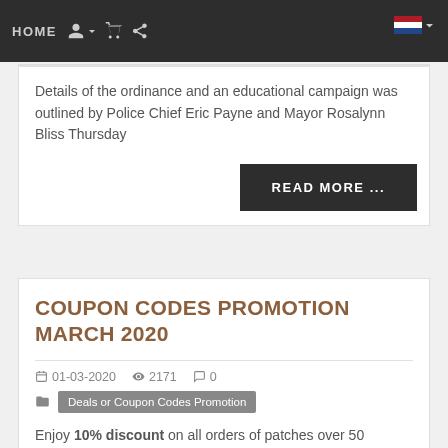HOME
Details of the ordinance and an educational campaign was outlined by Police Chief Eric Payne and Mayor Rosalynn Bliss Thursday
READ MORE ...
COUPON CODES PROMOTION MARCH 2020
01-03-2020   2171   0
Deals or Coupon Codes Promotion
Enjoy 10% discount on all orders of patches over 50